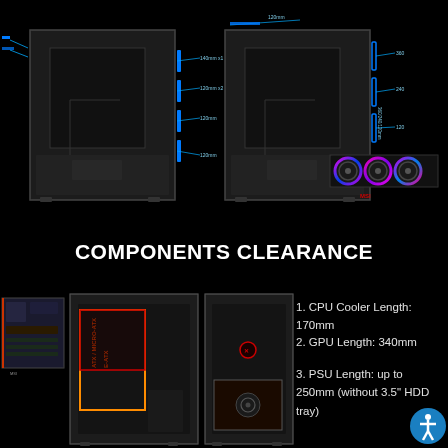Fan Support
Radiator Support
[Figure (engineering-diagram): Two computer case diagrams side by side showing fan support positions (left) and radiator support positions (right) with blue annotation lines indicating mounting locations. A triple-fan RGB radiator image is shown to the right.]
COMPONENTS CLEARANCE
[Figure (engineering-diagram): Bottom section showing a motherboard, a PC case interior with GPU clearance highlighted in orange/red, and another case interior view with PSU clearance highlighted.]
1. CPU Cooler Length: 170mm
2. GPU Length: 340mm
3. PSU Length: up to 250mm (without 3.5" HDD tray)